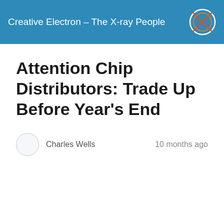Creative Electron – The X-ray People
Attention Chip Distributors: Trade Up Before Year's End
Charles Wells    10 months ago